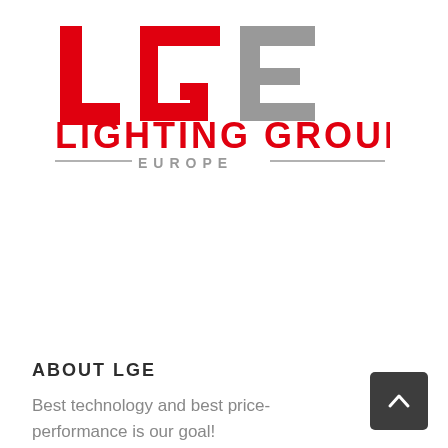[Figure (logo): Lighting Group Europe (LGE) logo. Bold red letters 'LG' on left, grey letter 'E' on right forming 'LGE' acronym, with 'LIGHTING GROUP' in large red text below and 'EUROPE' in grey smaller caps with decorative lines.]
ABOUT LGE
Best technology and best price-performance is our goal!